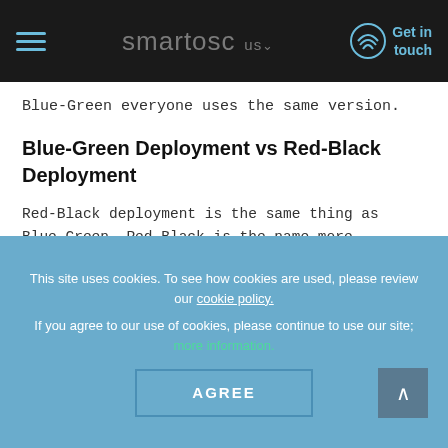smartosc us — Get in touch
Blue-Green everyone uses the same version.
Blue-Green Deployment vs Red-Black Deployment
Red-Black deployment is the same thing as Blue-Green. Red-Black is the name more commonly used by Netflix and its Spinnaker platform to refer to Blue-Green testing, as red and black are their brand colours. There is no difference in the ability to bypass the router to
This site uses cookies. To see how cookies are used, please review our cookie policy.

If you agree to our use of cookies, please continue to use our site; more information.